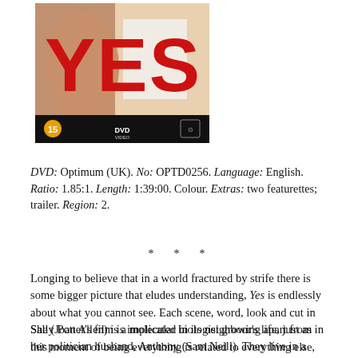[Figure (photo): DVD cover for the film 'YES' showing large red letters YES over a photo, with a black bar at bottom containing DVD certification, DVD logo, and distributor logo]
DVD: Optimum (UK). No: OPTD0256. Language: English. Ratio: 1.85:1. Length: 1:39:00. Colour. Extras: two featurettes; trailer. Region: 2.
* * *
Longing to believe that in a world fractured by strife there is some bigger picture that eludes understanding, Yes is endlessly about what you cannot see. Each scene, word, look and cut in Sally Potter's film is implicated in its neighbour's life, just as in this moment of being everything is related to everything else, even to the dirt beneath our feet.
She (Joan Allen) is a molecular biologist growing apart from her politician husband, Anthony (Sam Neill). They live in a well-